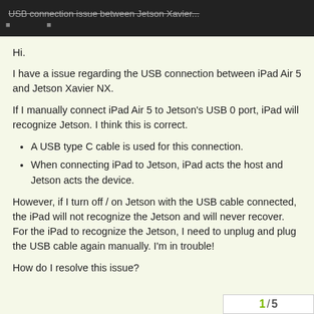USB connection issue between Jetson Xavier...
Hi.
I have a issue regarding the USB connection between iPad Air 5 and Jetson Xavier NX.
If I manually connect iPad Air 5 to Jetson's USB 0 port, iPad will recognize Jetson. I think this is correct.
A USB type C cable is used for this connection.
When connecting iPad to Jetson, iPad acts the host and Jetson acts the device.
However, if I turn off / on Jetson with the USB cable connected, the iPad will not recognize the Jetson and will never recover.
For the iPad to recognize the Jetson, I need to unplug and plug the USB cable again manually. I'm in trouble!
How do I resolve this issue?
1 / 5